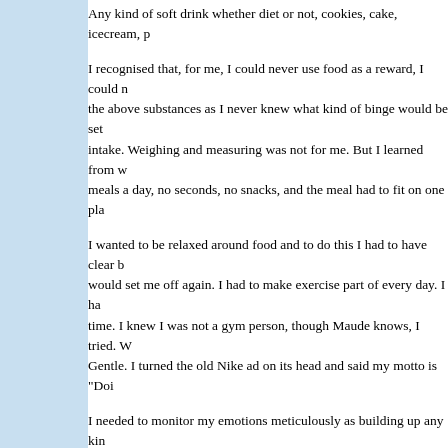Any kind of soft drink whether diet or not, cookies, cake, icecream, p...
I recognised that, for me, I could never use food as a reward, I could n... the above substances as I never knew what kind of binge would be set... intake. Weighing and measuring was not for me. But I learned from w... meals a day, no seconds, no snacks, and the meal had to fit on one pla...
I wanted to be relaxed around food and to do this I had to have clear b... would set me off again. I had to make exercise part of every day. I ha... time. I knew I was not a gym person, though Maude knows, I tried. W... Gentle. I turned the old Nike ad on its head and said my motto is "Doi...
I needed to monitor my emotions meticulously as building up any kin... trying to stuff those feelings down. I needed to talk to others who und... path as I was. And I found them.
And the compulsion was lifted. And the food is peaceful now, way in... anything I had ever hoped for.
I wear the world like a loose garment. I don't weigh anything includin... in tape measures or scales or calorie counters. And I am living my dre...
And if you're interested in more specifics on what I have done to bring... magical freedom from the food that enslaved me:
You can email me directly at: wisewebwomanathotmaildotcom and I w...